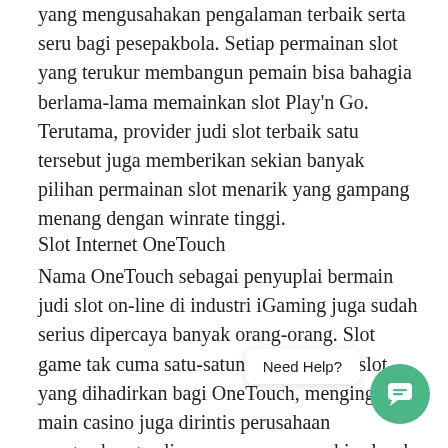yang mengusahakan pengalaman terbaik serta seru bagi pesepakbola. Setiap permainan slot yang terukur membangun pemain bisa bahagia berlama-lama memainkan slot Play'n Go. Terutama, provider judi slot terbaik satu tersebut juga memberikan sekian banyak pilihan permainan slot menarik yang gampang menang dengan winrate tinggi.
Slot Internet OneTouch
Nama OneTouch sebagai penyuplai bermain judi slot on-line di industri iGaming juga sudah serius dipercaya banyak orang-orang. Slot game tak cuma satu-satunya permainan slot yang dihadirkan bagi OneTouch, mengingat main casino juga dirintis perusahaan pengembang apli     mampu memenuhi seluruh kebutuhan para penikmat taruhan online dimanapun.